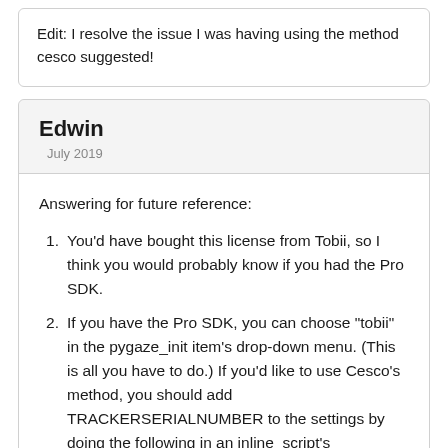Edit: I resolve the issue I was having using the method cesco suggested!
Edwin
July 2019
Answering for future reference:
You'd have bought this license from Tobii, so I think you would probably know if you had the Pro SDK.
If you have the Pro SDK, you can choose "tobii" in the pygaze_init item's drop-down menu. (This is all you have to do.) If you'd like to use Cesco's method, you should add TRACKERSERIALNUMBER to the settings by doing the following in an inline_script's Prepare phase all the way at the start of